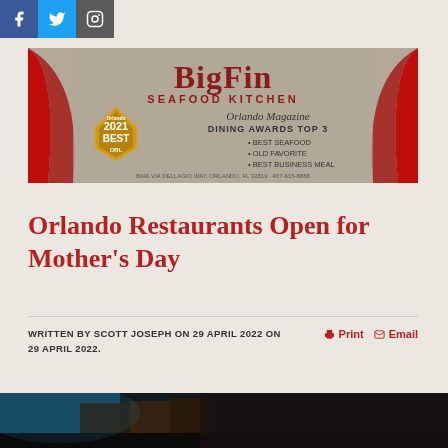[Figure (other): Social media icons: Facebook (blue), Twitter (cyan), Instagram (grey)]
[Figure (other): BigFin Seafood Kitchen advertisement banner. Orlando 2021 Best ORL badge. Orlando Magazine Dining Awards Top 3: Best Seafood, Old Favorite, Best Business Meal. Address: 8046 Via Dellagio Way, Orlando, FL 32819; 407-615-8888]
Orlando Restaurants Open for Mother's Day
WRITTEN BY SCOTT JOSEPH ON 29 APRIL 2022 ON 29 APRIL 2022.
[Figure (photo): Bottom portion of a restaurant interior photo showing dark ambiance with blue lighting accents]